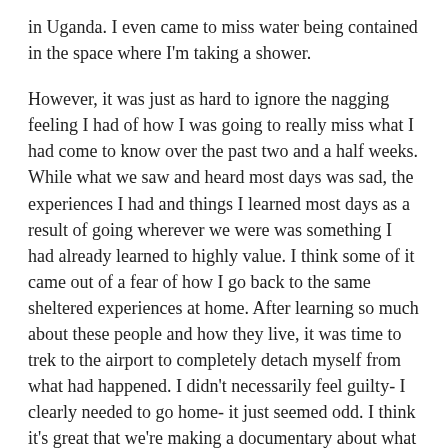in Uganda. I even came to miss water being contained in the space where I'm taking a shower.
However, it was just as hard to ignore the nagging feeling I had of how I was going to really miss what I had come to know over the past two and a half weeks. While what we saw and heard most days was sad, the experiences I had and things I learned most days as a result of going wherever we were was something I had already learned to highly value. I think some of it came out of a fear of how I go back to the same sheltered experiences at home. After learning so much about these people and how they live, it was time to trek to the airport to completely detach myself from what had happened. I didn't necessarily feel guilty- I clearly needed to go home- it just seemed odd. I think it's great that we're making a documentary about what we've seen, directly using their words to relay their situation to others. It's really helped ease that feeling, perhaps more so than if we just would've shown up, done some service, and gone